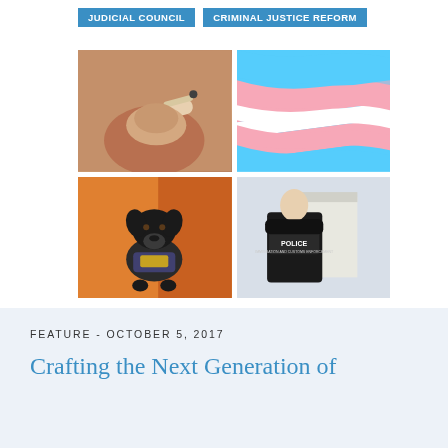JUDICIAL COUNCIL
CRIMINAL JUSTICE REFORM
[Figure (photo): Four-photo grid: top-left person smoking a cigarette close-up, top-right transgender pride flag with blue pink and white stripes, bottom-left black labrador dog wearing service vest sitting on orange background, bottom-right police officer in black vest with POLICE text on back]
FEATURE - OCTOBER 5, 2017
Crafting the Next Generation of